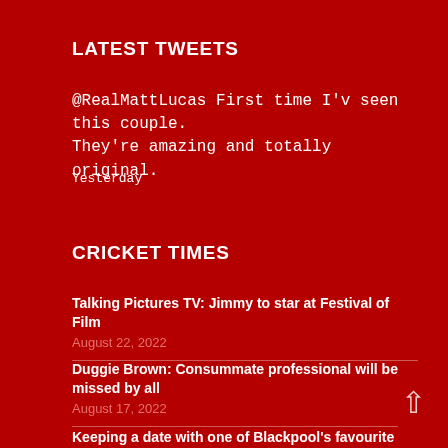LATEST TWEETS
@RealMattLucas First time I'v seen this couple. They're amazing and totally original.
Yesterday
CRICKET TIMES
Talking Pictures TV: Jimmy to star at Festival of Film
August 22, 2022
Duggie Brown: Consummate professional will be missed by all
August 17, 2022
Keeping a date with one of Blackpool's favourite hotels